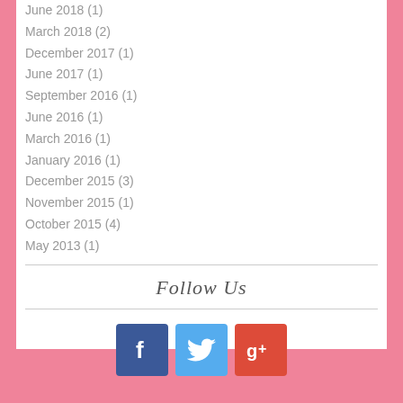June 2018 (1)
March 2018 (2)
December 2017 (1)
June 2017 (1)
September 2016 (1)
June 2016 (1)
March 2016 (1)
January 2016 (1)
December 2015 (3)
November 2015 (1)
October 2015 (4)
May 2013 (1)
Follow Us
[Figure (other): Social media icons: Facebook (blue), Twitter (light blue), Google+ (red-orange)]